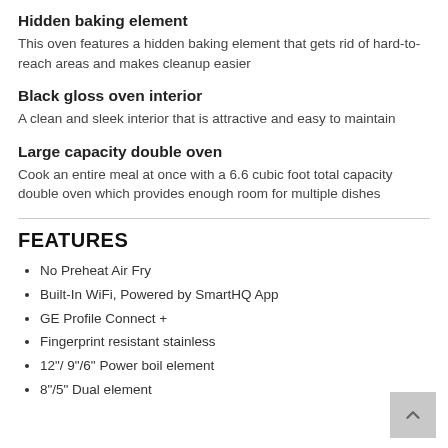Hidden baking element
This oven features a hidden baking element that gets rid of hard-to-reach areas and makes cleanup easier
Black gloss oven interior
A clean and sleek interior that is attractive and easy to maintain
Large capacity double oven
Cook an entire meal at once with a 6.6 cubic foot total capacity double oven which provides enough room for multiple dishes
FEATURES
No Preheat Air Fry
Built-In WiFi, Powered by SmartHQ App
GE Profile Connect +
Fingerprint resistant stainless
12"/ 9"/6" Power boil element
8"/5" Dual element